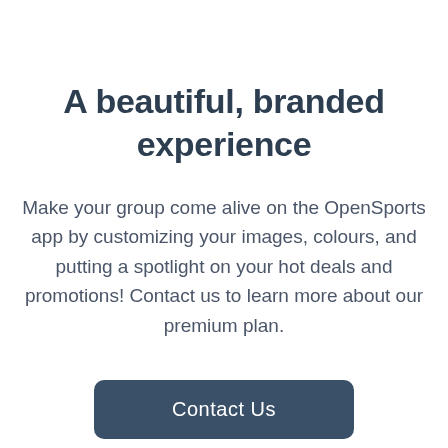A beautiful, branded experience
Make your group come alive on the OpenSports app by customizing your images, colours, and putting a spotlight on your hot deals and promotions! Contact us to learn more about our premium plan.
Contact Us